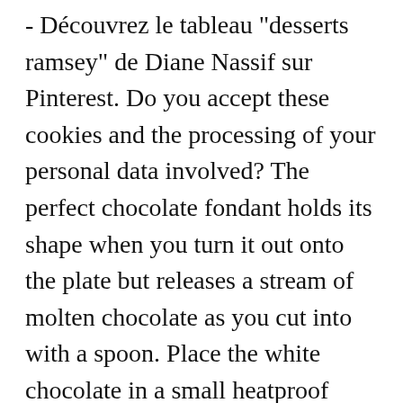- Découvrez le tableau "desserts ramsey" de Diane Nassif sur Pinterest. Do you accept these cookies and the processing of your personal data involved? The perfect chocolate fondant holds its shape when you turn it out onto the plate but releases a stream of molten chocolate as you cut into with a spoon. Place the white chocolate in a small heatproof bowl, pour in the marshmallow mixture and stir until the chocolate has melted. We've pieced together some of our favourite dessert recipes from the channel into one special. Blitz the tofu in a liquidiser until smooth. Today I'm gonna show you how to make this Chocolate Parfait Recipe! Opt for our indulgent world's best brownies recipes or try a fresh mango cheesecake for